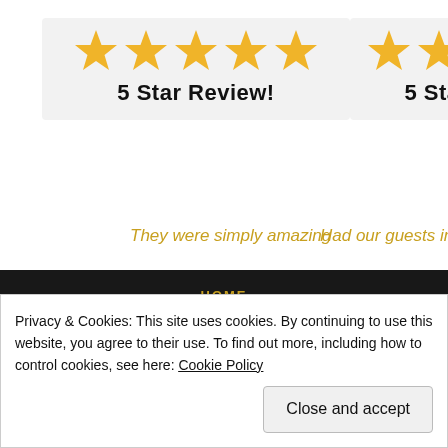[Figure (other): 5 Star Review card with five gold stars and bold text '5 Star Review!']
[Figure (other): Partially visible 5 Star Review card with gold stars and truncated text '5 Star Revi']
They were simply amazing
Had our guests in the palm
HOME
BRISTOL SINGING WAITERS
BATH SINGING WAITERS
WILTSHIRE SINGING WAITERS
Privacy & Cookies: This site uses cookies. By continuing to use this website, you agree to their use. To find out more, including how to control cookies, see here: Cookie Policy
Close and accept